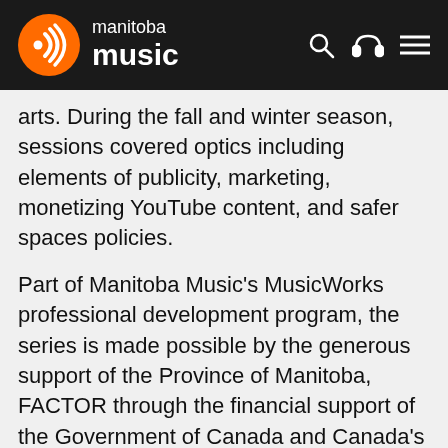manitoba music
arts. During the fall and winter season, sessions covered optics including elements of publicity, marketing, monetizing YouTube content, and safer spaces policies.
Part of Manitoba Music's MusicWorks professional development program, the series is made possible by the generous support of the Province of Manitoba, FACTOR through the financial support of the Government of Canada and Canada's private radio broadcasters, and The SOCAN Foundation.
TAGGED
MusicWorks, Arts Fundamentals, Manitoba Music, Creative Manitoba, Digital Marketing, Social Media,